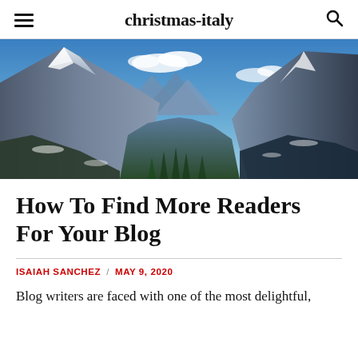christmas-italy
[Figure (photo): Panoramic winter mountain landscape with snow-covered peaks, blue sky with clouds, evergreen trees in a valley between rocky mountains]
How To Find More Readers For Your Blog
ISAIAH SANCHEZ / MAY 9, 2020
Blog writers are faced with one of the most delightful,